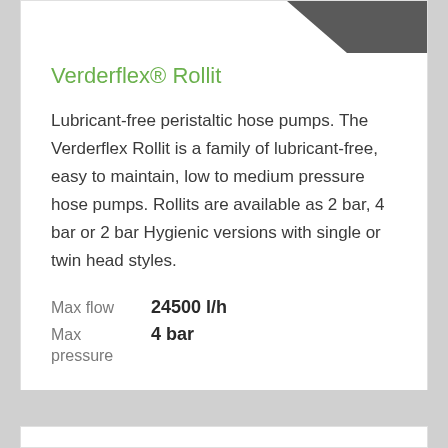[Figure (illustration): Partial view of Verderflex Rollit pump product image, showing a dark arrow/wedge shape in the upper right corner of the card]
Verderflex® Rollit
Lubricant-free peristaltic hose pumps. The Verderflex Rollit is a family of lubricant-free, easy to maintain, low to medium pressure hose pumps. Rollits are available as 2 bar, 4 bar or 2 bar Hygienic versions with single or twin head styles.
Max flow 24500 l/h
Max pressure 4 bar